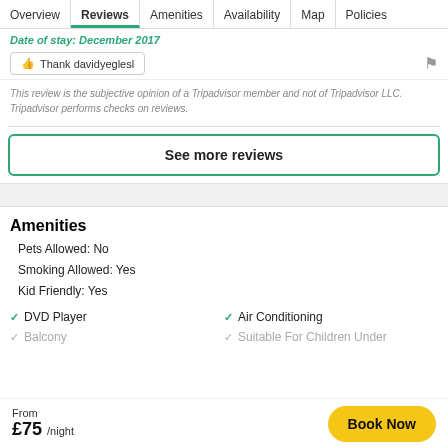Overview | Reviews | Amenities | Availability | Map | Policies
Date of stay: December 2017
Thank davidyeglesl
This review is the subjective opinion of a Tripadvisor member and not of Tripadvisor LLC. Tripadvisor performs checks on reviews.
See more reviews
Amenities
Pets Allowed: No
Smoking Allowed: Yes
Kid Friendly: Yes
DVD Player
Air Conditioning
Balcony
Suitable For Children Under...
From £75 /night
Book Now